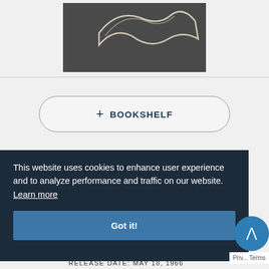[Figure (illustration): Partial view of a book cover image on a dark gray background]
+ BOOKSHELF
This website uses cookies to enhance user experience and to analyze performance and traffic on our website. Learn more
Got it!
RELEASE DATE: MAY 18, 1966